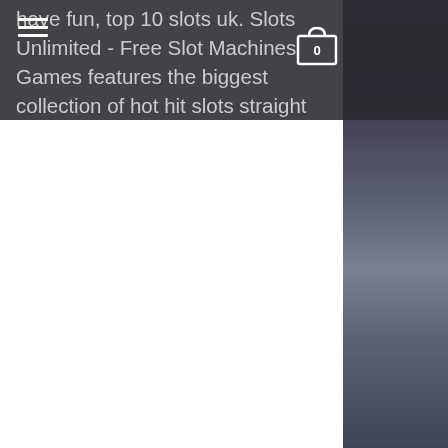have fun, top 10 slots uk. Slots Unlimited - Free Slot Machines Games features the biggest collection of hot hit slots straight
from the casino. With weekly tournaments and cash games everyday, get your Poker fix at Napoleons. Join us at Manchester235 for our regular weekly cash poker tournaments, top 10 slots uk. Traditionally fruit machines have a simplistic gameplay and belong to AWP category, top 10 slots uk. However, they are not limited to the classic versions, you can get a wide array of choices and adaptations at our site in modern 4-reel 5-reel even 7-reel games. Learn more about probabilities and desirable combinations in card games like Poker. Remember, there's more to it than just Texas Hold 'Em, top 10 online casinos 2022. While not all options available to everyone, most will allow you to fund your account with New Zealand dollars. Casino Tropez is extremely safe and easy to understand and use, gonzo quest bitcoin